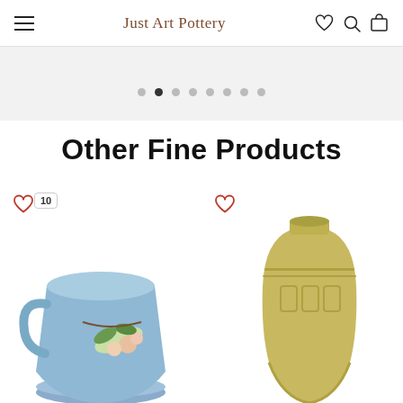Just Art Pottery
[Figure (other): Carousel/slideshow with dot navigation, second dot active out of 8]
Other Fine Products
[Figure (photo): Blue Roseville apple blossom flower pot/planter with saucer, with heart icon and badge showing 10 favorites]
[Figure (photo): Tall yellow/tan matte ceramic vase with embossed geometric pattern, with heart icon]